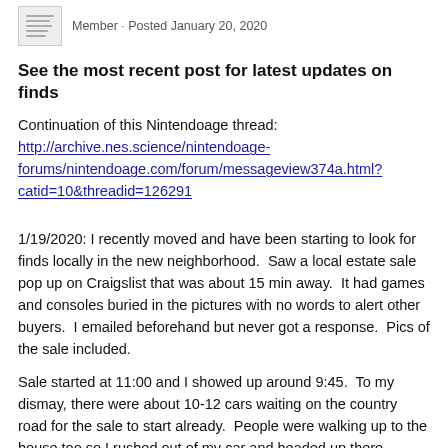Member · Posted January 20, 2020
See the most recent post for latest updates on finds
Continuation of this Nintendoage thread: http://archive.nes.science/nintendoage-forums/nintendoage.com/forum/messageview374a.html?catid=10&threadid=126291
1/19/2020: I recently moved and have been starting to look for finds locally in the new neighborhood.  Saw a local estate sale pop up on Craigslist that was about 15 min away.  It had games and consoles buried in the pictures with no words to alert other buyers.  I emailed beforehand but never got a response.  Pics of the sale included.
Sale started at 11:00 and I showed up around 9:45.  To my dismay, there were about 10-12 cars waiting on the country road for the sale to start already.  People were walking up to the house too so I rushed out of my car and headed up there.  Someone working the sale had post it notes that were numbered so you could hold your place in line.  I got number #25 and was so